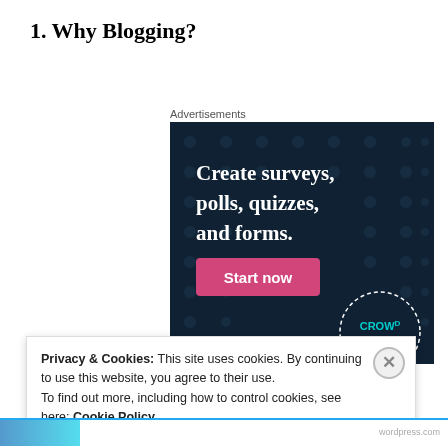1. Why Blogging?
Advertisements
[Figure (screenshot): Advertisement banner for Crowdsignal: dark navy background with white bold text reading 'Create surveys, polls, quizzes, and forms.' with a pink 'Start now' button and the Crowdsignal logo in the bottom right corner.]
Privacy & Cookies: This site uses cookies. By continuing to use this website, you agree to their use.
To find out more, including how to control cookies, see here: Cookie Policy
Close and accept